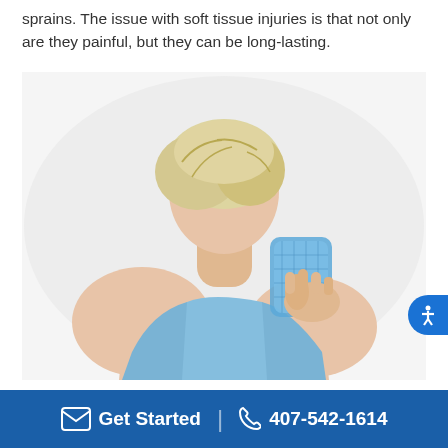sprains. The issue with soft tissue injuries is that not only are they painful, but they can be long-lasting.
[Figure (photo): Woman seen from behind holding a blue ice/gel pack against her neck, wearing a light blue tank top, against a white background.]
When you have pain or soreness in your muscles, the
Accept and Close
Get Started  |  407-542-1614